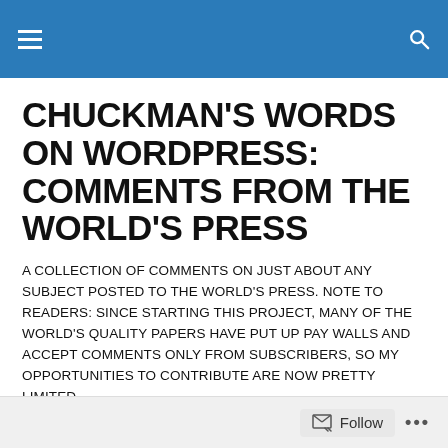CHUCKMAN'S WORDS ON WORDPRESS: COMMENTS FROM THE WORLD'S PRESS
CHUCKMAN'S WORDS ON WORDPRESS: COMMENTS FROM THE WORLD'S PRESS
A COLLECTION OF COMMENTS ON JUST ABOUT ANY SUBJECT POSTED TO THE WORLD'S PRESS. NOTE TO READERS: SINCE STARTING THIS PROJECT, MANY OF THE WORLD'S QUALITY PAPERS HAVE PUT UP PAY WALLS AND ACCEPT COMMENTS ONLY FROM SUBSCRIBERS, SO MY OPPORTUNITIES TO CONTRIBUTE ARE NOW PRETTY LIMITED.
TAGGED WITH UKRAINIAN CLAIM OF RUSSIA USING MISSILE
Follow